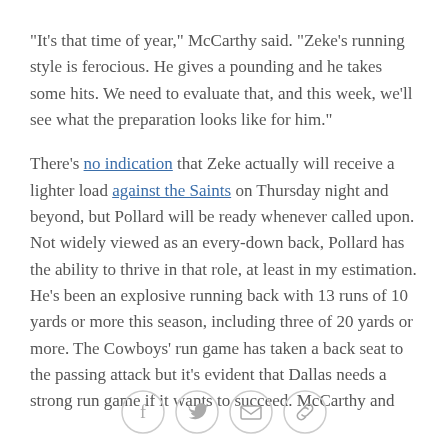"It's that time of year," McCarthy said. "Zeke's running style is ferocious. He gives a pounding and he takes some hits. We need to evaluate that, and this week, we'll see what the preparation looks like for him."
There's no indication that Zeke actually will receive a lighter load against the Saints on Thursday night and beyond, but Pollard will be ready whenever called upon. Not widely viewed as an every-down back, Pollard has the ability to thrive in that role, at least in my estimation. He's been an explosive running back with 13 runs of 10 yards or more this season, including three of 20 yards or more. The Cowboys' run game has taken a back seat to the passing attack but it's evident that Dallas needs a strong run game if it wants to succeed. McCarthy and
[Figure (other): Social sharing icons: Facebook, Twitter, Email, Link]